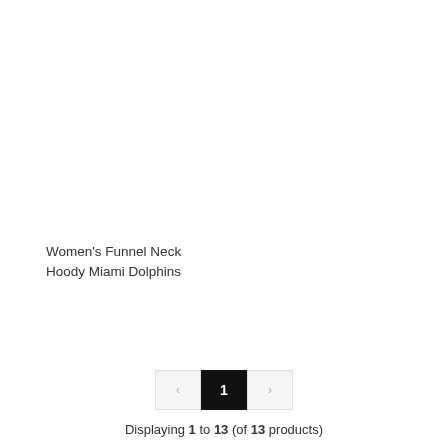Women's Funnel Neck Hoody Miami Dolphins
Displaying 1 to 13 (of 13 products)